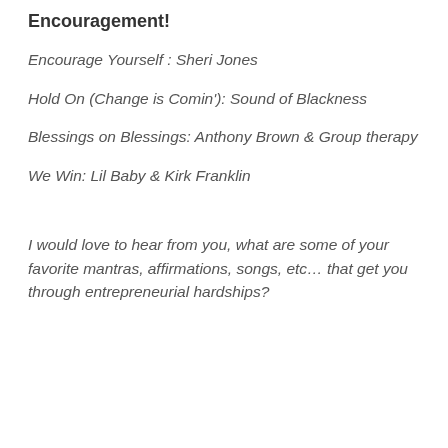Encouragement!
Encourage Yourself : Sheri Jones
Hold On (Change is Comin'): Sound of Blackness
Blessings on Blessings: Anthony Brown & Group therapy
We Win: Lil Baby & Kirk Franklin
I would love to hear from you, what are some of your favorite mantras, affirmations, songs, etc… that get you through entrepreneurial hardships?